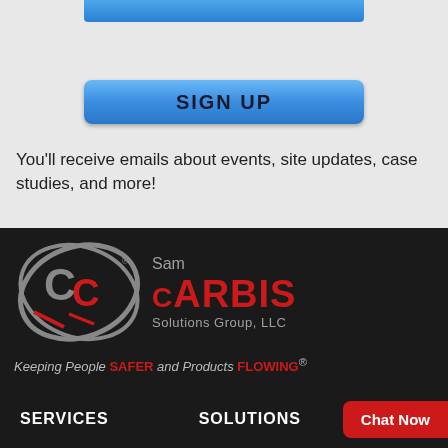[Figure (screenshot): Partial UI element: blue bar and avatar at top]
[Figure (screenshot): Blue SIGN UP button with gradient]
You'll receive emails about events, site updates, case studies, and more!
[Figure (logo): Sam Carbis Solutions Group, LLC logo with interlocking CC monogram in red and grey]
Keeping People SAFER and Products FLOWING®
SERVICES
SOLUTIONS
Chat Now